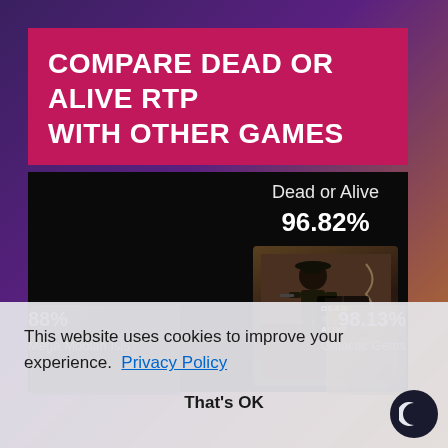COMPARE DEAD OR ALIVE RTP WITH OTHER GAMES
[Figure (screenshot): Dead or Alive slot game thumbnail showing a cowboy character with 96.82% RTP displayed]
Dead or Alive
96.82%
88%
Mega Moolah Isis
98.13%
Galactic Gems
This website uses cookies to improve your experience.  Privacy Policy
That's OK